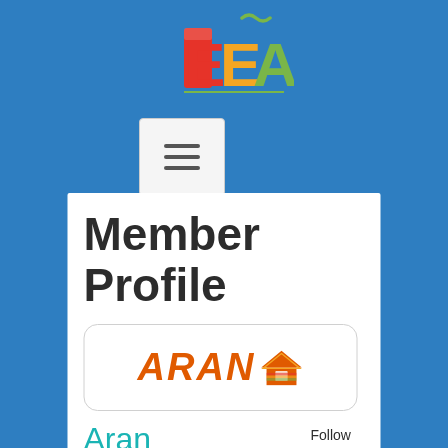[Figure (logo): EEA Energy Efficiency Association CIC logo with colourful block letters E, E, A and green text on right]
[Figure (other): Hamburger/menu button with three horizontal lines]
Member Profile
[Figure (logo): Aran logo: orange italic ARAN text with a colourful house icon]
Follow us on:
Aran Insulation Limited